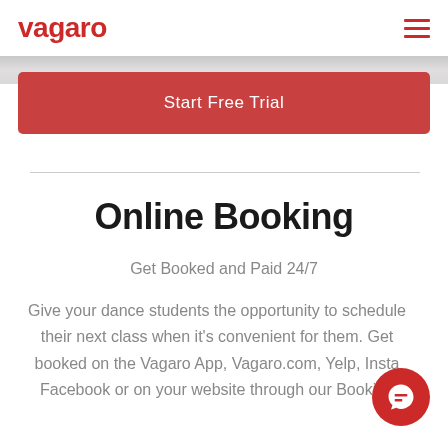vagaro
[Figure (screenshot): Start Free Trial button - red rounded rectangle button with white text]
Online Booking
Get Booked and Paid 24/7
Give your dance students the opportunity to schedule their next class when it's convenient for them. Get booked on the Vagaro App, Vagaro.com, Yelp, Insta, Facebook or on your website through our Booking